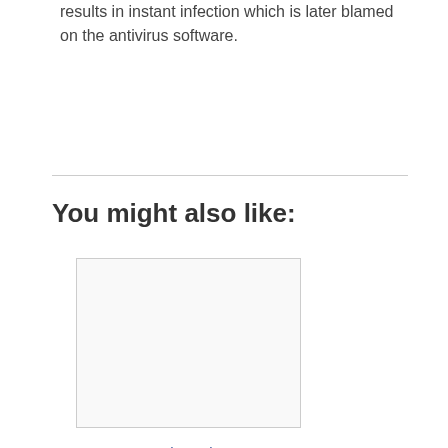results in instant infection which is later blamed on the antivirus software.
You might also like:
[Figure (photo): Blank/white image placeholder for an article thumbnail]
5 Best Search Engines to Keep You Anonymous and Secure